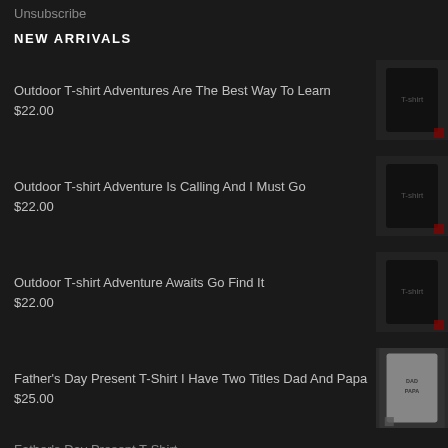Unsubscribe
NEW ARRIVALS
Outdoor T-shirt Adventures Are The Best Way To Learn
$22.00
Outdoor T-shirt Adventure Is Calling And I Must Go
$22.00
Outdoor T-shirt Adventure Awaits Go Find It
$22.00
Father's Day Present T-Shirt I Have Two Titles Dad And Papa
$25.00
Father's Day Present T-Shirt...